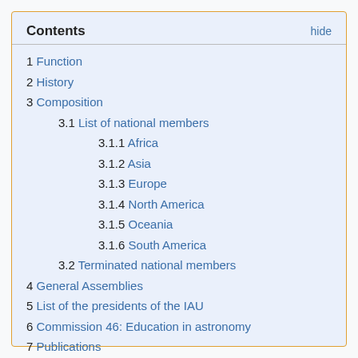Contents
1 Function
2 History
3 Composition
3.1 List of national members
3.1.1 Africa
3.1.2 Asia
3.1.3 Europe
3.1.4 North America
3.1.5 Oceania
3.1.6 South America
3.2 Terminated national members
4 General Assemblies
5 List of the presidents of the IAU
6 Commission 46: Education in astronomy
7 Publications
8 See also